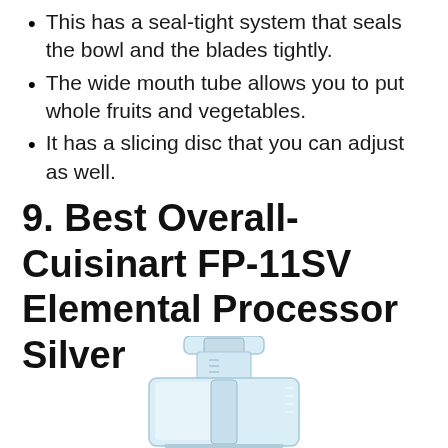This has a seal-tight system that seals the bowl and the blades tightly.
The wide mouth tube allows you to put whole fruits and vegetables.
It has a slicing disc that you can adjust as well.
9. Best Overall- Cuisinart FP-11SV Elemental Processor Silver
[Figure (photo): A Cuisinart FP-11SV Elemental food processor in silver/clear, showing the bowl and feed tube from the front.]